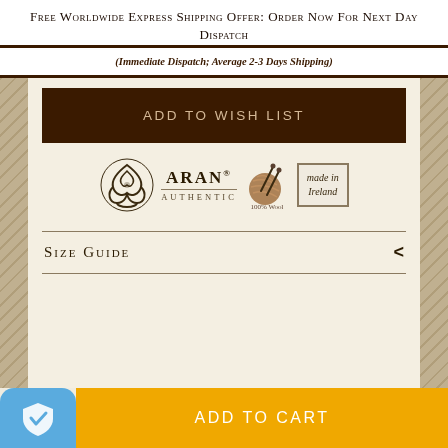Free Worldwide Express Shipping Offer: Order Now For Next Day Dispatch
(Immediate Dispatch; Average 2-3 Days Shipping)
ADD TO WISH LIST
[Figure (logo): Aran Authentic logo with Celtic knot, 100% Wool yarn ball, and Made in Ireland badge]
SIZE GUIDE
Choose options ∨
ADD TO CART